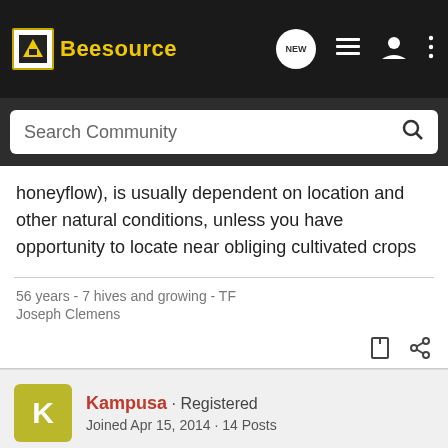[Figure (screenshot): Beesource community forum website header with logo, search bar, and navigation icons]
honeyflow), is usually dependent on location and other natural conditions, unless you have opportunity to locate near obliging cultivated crops
56 years - 7 hives and growing - TF
Joseph Clemens
Kampusa · Registered
Joined Apr 15, 2014 · 14 Posts
#3 · Apr 27, 2014